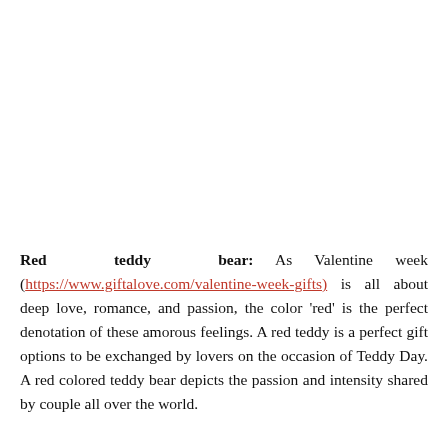Red teddy bear: As Valentine week (https://www.giftalove.com/valentine-week-gifts) is all about deep love, romance, and passion, the color 'red' is the perfect denotation of these amorous feelings. A red teddy is a perfect gift options to be exchanged by lovers on the occasion of Teddy Day. A red colored teddy bear depicts the passion and intensity shared by couple all over the world.